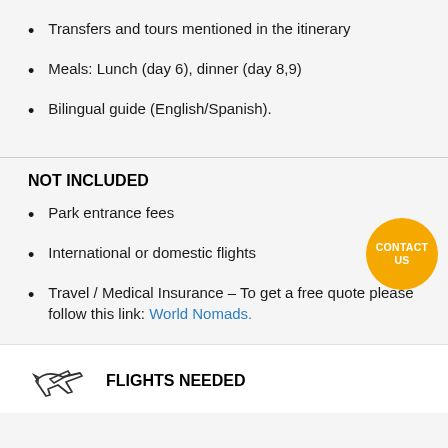Transfers and tours mentioned in the itinerary
Meals: Lunch (day 6), dinner (day 8,9)
Bilingual guide (English/Spanish).
NOT INCLUDED
Park entrance fees
International or domestic flights
Travel / Medical Insurance – To get a free quote please follow this link: World Nomads.
FLIGHTS NEEDED